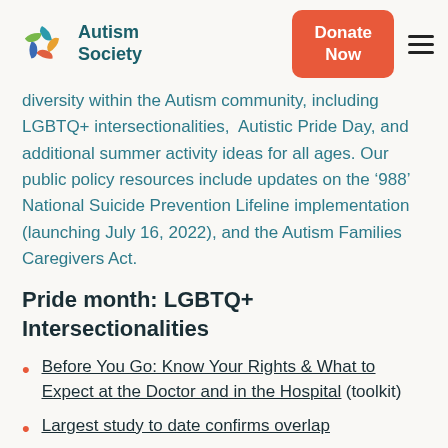Autism Society | Donate Now
diversity within the Autism community, including LGBTQ+ intersectionalities,  Autistic Pride Day, and additional summer activity ideas for all ages. Our public policy resources include updates on the ‘988’ National Suicide Prevention Lifeline implementation (launching July 16, 2022), and the Autism Families Caregivers Act.
Pride month: LGBTQ+ Intersectionalities
Before You Go: Know Your Rights & What to Expect at the Doctor and in the Hospital (toolkit)
Largest study to date confirms overlap